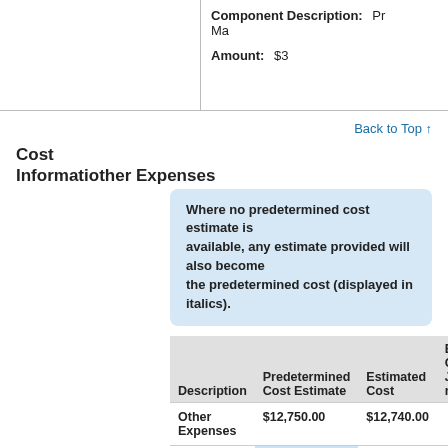|  | Component Description: | Pr...Ma... |
| --- | --- | --- |
|  | Amount: | $3... |
Back to Top ↑
Cost Information
Other Expenses
Where no predetermined cost estimate is available, any estimate provided will also become the predetermined cost (displayed in italics).
| Description | Predetermined Cost Estimate | Estimated Cost | Estimated Cost Justification |
| --- | --- | --- | --- |
| Other Expenses | $12,750.00 | $12,740.00 |  |
| Equipment Storage | $1,000.00 | $1,000.00 | N/A |